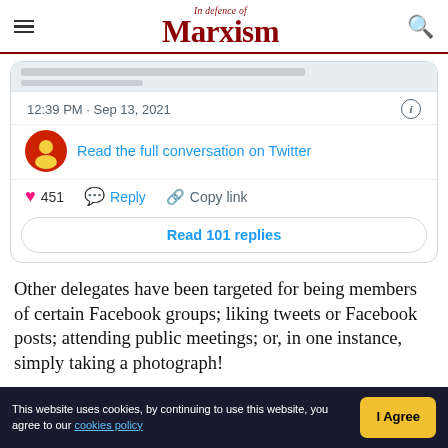In Defence of Marxism
[Figure (screenshot): Embedded tweet showing timestamp 12:39 PM · Sep 13, 2021, a link to 'Read the full conversation on Twitter', heart count 451, Reply and Copy link actions, and a 'Read 101 replies' button.]
Other delegates have been targeted for being members of certain Facebook groups; liking tweets or Facebook posts; attending public meetings; or, in one instance, simply taking a photograph!
Those targeted have been given just seven days to
This website uses cookies, by continuing to use this website, you agree to our cookies policy